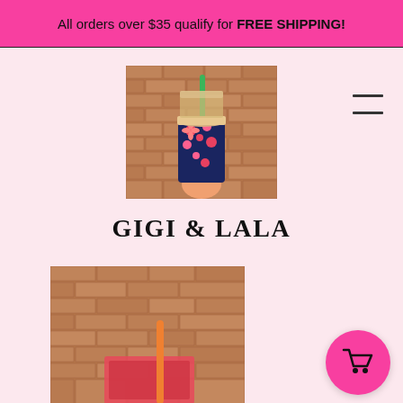All orders over $35 qualify for FREE SHIPPING!
[Figure (photo): Hand holding a colorful floral patterned drink sleeve on an iced drink, with a green straw, against a brick wall background. This is the logo/brand image for Gigi & Lala.]
GIGI & LALA
[Figure (photo): Partial view of a product (drink sleeve or similar item) against a brick wall background, with an orange straw visible.]